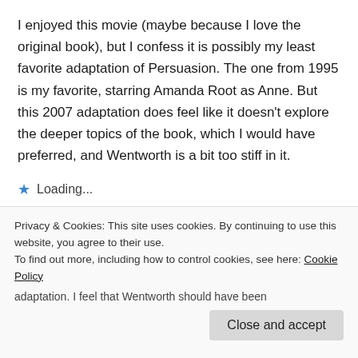I enjoyed this movie (maybe because I love the original book), but I confess it is possibly my least favorite adaptation of Persuasion. The one from 1995 is my favorite, starring Amanda Root as Anne. But this 2007 adaptation does feel like it doesn't explore the deeper topics of the book, which I would have preferred, and Wentworth is a bit too stiff in it.
★ Loading...
Reply
nsford says:
Privacy & Cookies: This site uses cookies. By continuing to use this website, you agree to their use.
To find out more, including how to control cookies, see here: Cookie Policy
Close and accept
adaptation. I feel that Wentworth should have been